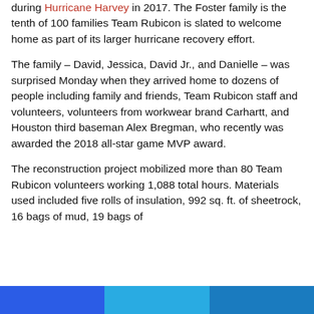during Hurricane Harvey in 2017. The Foster family is the tenth of 100 families Team Rubicon is slated to welcome home as part of its larger hurricane recovery effort.
The family – David, Jessica, David Jr., and Danielle – was surprised Monday when they arrived home to dozens of people including family and friends, Team Rubicon staff and volunteers, volunteers from workwear brand Carhartt, and Houston third baseman Alex Bregman, who recently was awarded the 2018 all-star game MVP award.
The reconstruction project mobilized more than 80 Team Rubicon volunteers working 1,088 total hours. Materials used included five rolls of insulation, 992 sq. ft. of sheetrock, 16 bags of mud, 19 bags of